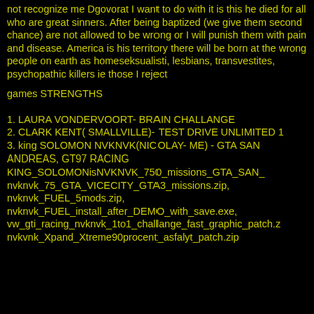not recognize me Dgovorat I want to do with it is this he died for all who are great sinners. After being baptized (we give them second chance) are not allowed to be wrong or I will punish them with pain and disease. America is his territory there will be born at the wrong people on earth as homeseksualisti, lesbians, transvestites, psychopathic killers ie those I reject
games STRENGTHS
1. LAURA VONDERVOORT- BRAIN CHALLANGE
2. CLARK KENT( SMALLVILLE)- TEST DRIVE UNLIMITED 1
3. king SOLOMON NVKNVK(NICOLAY- ME) - GTA SAN ANDREAS, GT97 RACING
KING_SOLOMONisNVKNVK_750_missions_GTA_SAN_ nvknvk_75_GTA_VICECITY_GTA3_missions.zip, nvknvk_FUEL_5mods.zip, nvknvk_FUEL_install_after_DEMO_with_save.exe, vw_gti_racing_nvknvk_1to1_challange_fast_graphic_patch.z nvkvnk_Xpand_Xtreme90procent_asfalyt_patch.zip